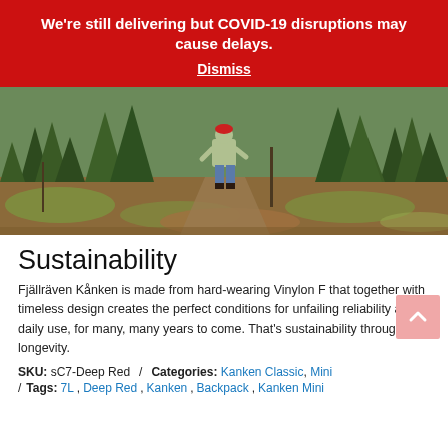We're still delivering but COVID-19 disruptions may cause delays.
Dismiss
[Figure (photo): A person walking on a forest trail surrounded by pine trees, viewed from behind, wearing a light jacket and jeans.]
Sustainability
Fjällräven Kånken is made from hard-wearing Vinylon F that together with timeless design creates the perfect conditions for unfailing reliability and daily use, for many, many years to come. That's sustainability through longevity.
SKU: sC7-Deep Red   /   Categories: Kanken Classic, Mini
Tags: 7L, Deep Red, Kanken, Backpack, Kanken Mini